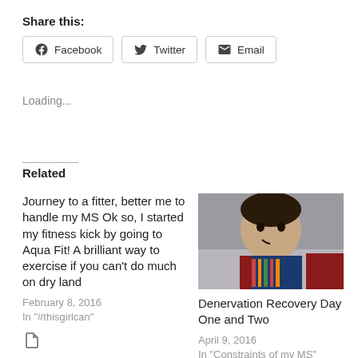Share this:
Facebook   Twitter   Email
Loading...
Related
Journey to a fitter, better me to handle my MS Ok so, I started my fitness kick by going to Aqua Fit! A brilliant way to exercise if you can't do much on dry land
February 8, 2016
In "#thisgirlcan"
[Figure (photo): Photo of a smiling woman, selfie style with colorful clothing, indoors.]
Denervation Recovery Day One and Two
April 9, 2016
In "Constraints of my MS"